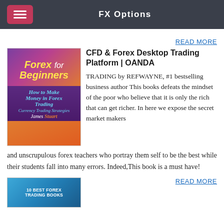FX Options
READ MORE
CFD & Forex Desktop Trading Platform | OANDA
TRADING by REFWAYNE, #1 bestselling business author This books defeats the mindset of the poor who believe that it is only the rich that can get richer. In here we expose the secret market makers and unscrupulous forex teachers who portray them self to be the best while their students fall into many errors. Indeed,This book is a must have!
[Figure (illustration): Book cover: Forex for Beginners - How to Make Money in Forex Trading, Currency Trading Strategies by James Stuart]
[Figure (illustration): Book cover: 10 Best Forex Trading Books]
READ MORE